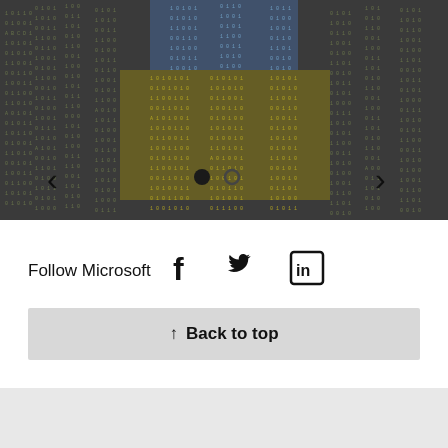[Figure (screenshot): Matrix-style digital rain background with Ukraine flag colors (blue and yellow) forming a silhouette. Carousel navigation arrows (left and right) and two indicator dots are overlaid at the bottom.]
Follow Microsoft
[Figure (illustration): Social media icons: Facebook (f), Twitter (bird), LinkedIn (in)]
↑ Back to top